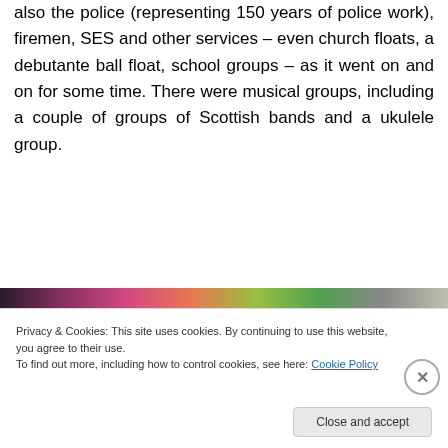also the police (representing 150 years of police work), firemen, SES and other services – even church floats, a debutante ball float, school groups – as it went on and on for some time. There were musical groups, including a couple of groups of Scottish bands and a ukulele group.
[Figure (other): Advertisements banner with colorful ad images]
[Figure (photo): Partial photo strip showing colorful balloons and objects]
Privacy & Cookies: This site uses cookies. By continuing to use this website, you agree to their use.
To find out more, including how to control cookies, see here: Cookie Policy